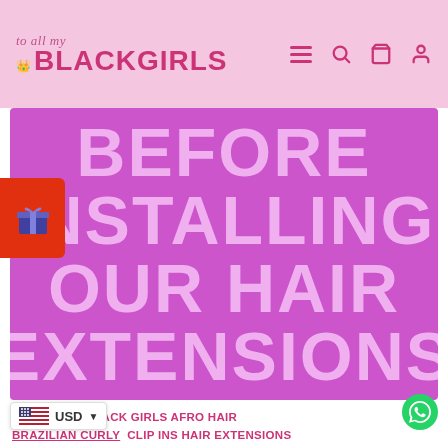to all my BLACKGIRLS
[Figure (illustration): Large purple banner with bold light pink text reading BEFORE INSTALLING OUR HAIR EXTENSIONS]
AFRO HAIR  BLACK GIRLS AFRO HAIR  BRAZILIAN CURLY  CLIP INS HAIR EXTENSIONS  EASY STYLING  HAIR EXTENSIONS  KINKY COARSE  KINKY CURLS  KINKY STRAIGHT